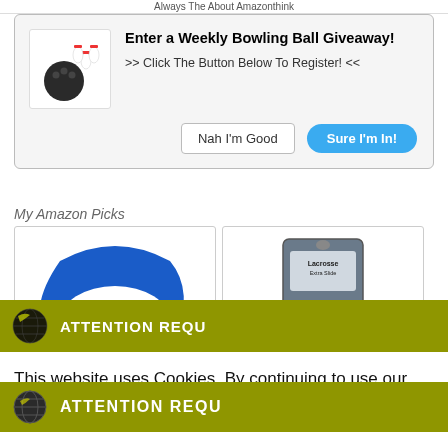Always The About Amazonthink
[Figure (screenshot): Bowling ball giveaway popup with bowling ball and pins icon, title 'Enter a Weekly Bowling Ball Giveaway!', text '>> Click The Button Below To Register! <<', and two buttons: 'Nah I'm Good' and 'Sure I'm In!']
My Amazon Picks
[Figure (photo): Blue crescent-shaped bowling towel/shammy product]
[Figure (photo): Lacrosse extra slide bag/powder product in grey packaging]
[Figure (screenshot): Cookie consent overlay with olive/yellow attention bar showing globe icon and 'ATTENTION REQU...' text, white body with cookie notice text, Accept button (green) and Privacy Center button (dark blue)]
This website uses Cookies. By continuing to use our site, you consent to the use of cookies.
Accept
Privacy Center